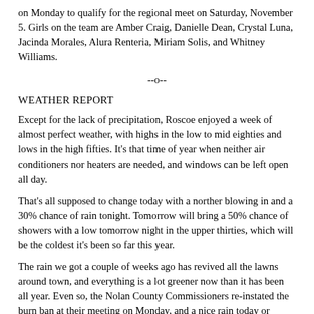on Monday to qualify for the regional meet on Saturday, November 5.  Girls on the team are Amber Craig, Danielle Dean, Crystal Luna, Jacinda Morales, Alura Renteria, Miriam Solis, and Whitney Williams.
--o--
WEATHER REPORT
Except for the lack of precipitation, Roscoe enjoyed a week of almost perfect weather, with highs in the low to mid eighties and lows in the high fifties.  It’s that time of year when neither air conditioners nor heaters are needed, and windows can be left open all day.
That’s all supposed to change today with a norther blowing in and a 30% chance of rain tonight.  Tomorrow will bring a 50% chance of showers with a low tomorrow night in the upper thirties, which will be the coldest it’s been so far this year.
The rain we got a couple of weeks ago has revived all the lawns around town, and everything is a lot greener now than it has been all year.  Even so, the Nolan County Commissioners re-instated the burn ban at their meeting on Monday, and a nice rain today or tomorrow would be more than welcome.